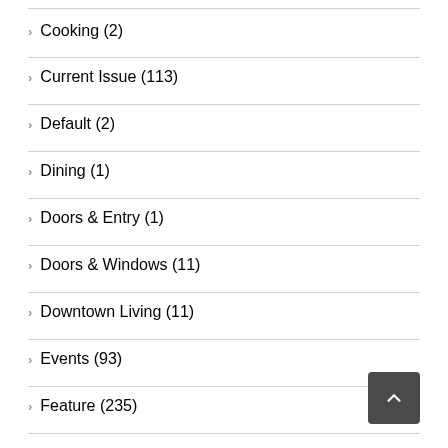Cooking (2)
Current Issue (113)
Default (2)
Dining (1)
Doors & Entry (1)
Doors & Windows (11)
Downtown Living (11)
Events (93)
Feature (235)